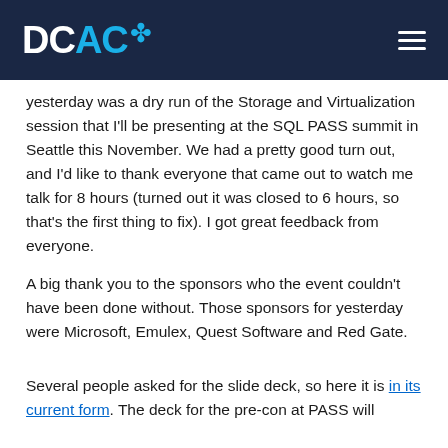DCAC [puzzle icon] [hamburger menu]
yesterday was a dry run of the Storage and Virtualization session that I'll be presenting at the SQL PASS summit in Seattle this November.  We had a pretty good turn out, and I'd like to thank everyone that came out to watch me talk for 8 hours (turned out it was closed to 6 hours, so that's the first thing to fix).  I got great feedback from everyone.
A big thank you to the sponsors who the event couldn't have been done without.  Those sponsors for yesterday were Microsoft, Emulex, Quest Software and Red Gate.
Several people asked for the slide deck, so here it is in its current form.  The deck for the pre-con at PASS will